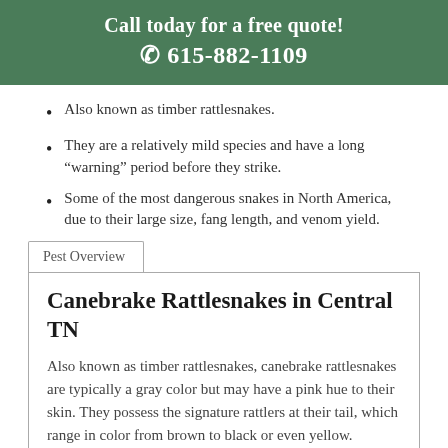Call today for a free quote!
☎ 615-882-1109
Also known as timber rattlesnakes.
They are a relatively mild species and have a long “warning” period before they strike.
Some of the most dangerous snakes in North America, due to their large size, fang length, and venom yield.
Pest Overview
Canebrake Rattlesnakes in Central TN
Also known as timber rattlesnakes, canebrake rattlesnakes are typically a gray color but may have a pink hue to their skin. They possess the signature rattlers at their tail, which range in color from brown to black or even yellow.